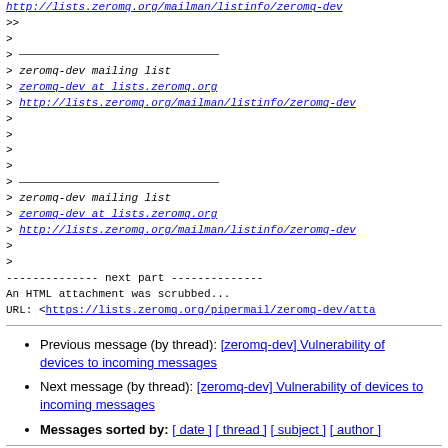>> 
>
>
> ___
> zeromq-dev mailing list
> zeromq-dev at lists.zeromq.org
> http://lists.zeromq.org/mailman/listinfo/zeromq-dev
>
>
>
>
> ___
> zeromq-dev mailing list
> zeromq-dev at lists.zeromq.org
> http://lists.zeromq.org/mailman/listinfo/zeromq-dev
>
>
-------------- next part --------------
An HTML attachment was scrubbed...
URL: <https://lists.zeromq.org/pipermail/zeromq-dev/atta
Previous message (by thread): [zeromq-dev] Vulnerability of devices to incoming messages
Next message (by thread): [zeromq-dev] Vulnerability of devices to incoming messages
Messages sorted by: [ date ] [ thread ] [ subject ] [ author ]
More information about the zeromq-dev mailing list